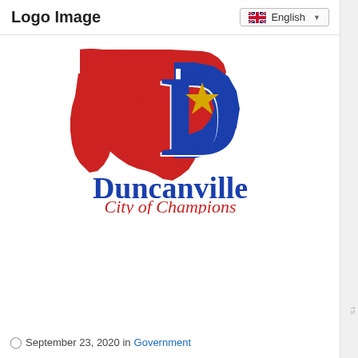Logo Image
[Figure (logo): Duncanville city logo featuring the Texas state silhouette in red overlapping a blue 'D' shape with a gold star, with text 'Duncanville' in bold blue and 'City of Champions' in red italic below]
September 23, 2020 in Government